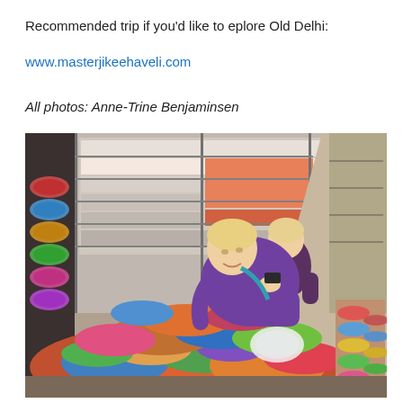Recommended trip if you'd like to eplore Old Delhi:
www.masterjikeehaveli.com
All photos: Anne-Trine Benjaminsen
[Figure (photo): Two blonde women browsing colorful bracelets and bangles in a crowded Indian market shop, with shelves stacked with boxes and merchandise in the background.]